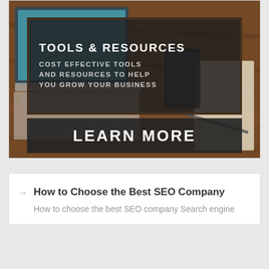[Figure (screenshot): Promotional banner image showing a laptop and desk with text overlay: 'TOOLS & RESOURCES - COST EFFECTIVE TOOLS AND RESOURCES TO HELP YOU GROW YOUR BUSINESS' inside an orange-bordered dark box, and a 'LEARN MORE' button at the bottom.]
How to Choose the Best SEO Company — How to choose the best SEO company Search engine